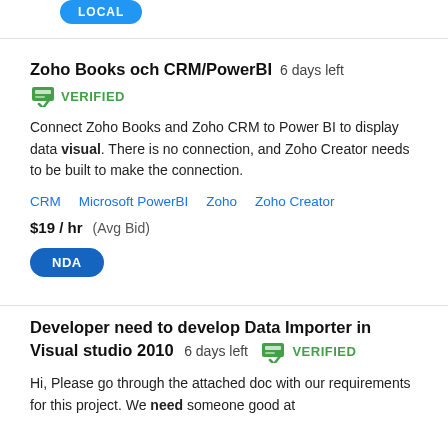[Figure (other): Blue rounded badge with text LOCAL]
Zoho Books och CRM/PowerBI  6 days left
VERIFIED (with green verified payment icon)
Connect Zoho Books and Zoho CRM to Power BI to display data visual. There is no connection, and Zoho Creator needs to be built to make the connection.
CRM   Microsoft PowerBI   Zoho   Zoho Creator
$19 / hr  (Avg Bid)
[Figure (other): Blue rounded badge with text NDA]
Developer need to develop Data Importer in Visual studio 2010  6 days left  VERIFIED
Hi, Please go through the attached doc with our requirements for this project. We need someone good at